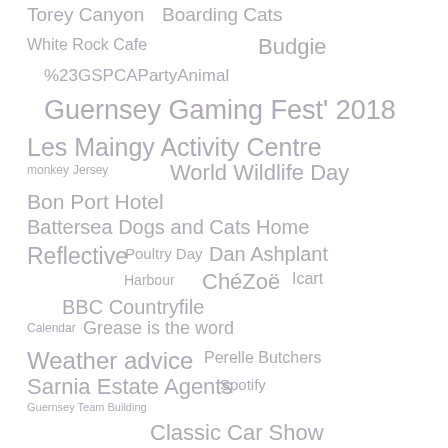[Figure (infographic): Tag cloud with various words and phrases in different sizes and positions, all in a muted gray/lavender color. Terms include: Torey Canyon, Boarding Cats, White Rock Cafe, Budgie, %23GSPCAPartyAnimal, Guernsey Gaming Fest' 2018, Les Maingy Activity Centre, monkey, Jersey, World Wildlife Day, Bon Port Hotel, Battersea Dogs and Cats Home, Reflective, Poultry Day, Dan Ashplant, Harbour, ChéZoë, Icart, BBC Countryfile, Calendar, Grease is the word, Weather advice, Perelle Butchers, Sarnia Estate Agents, Spotify, Guernsey Team Building, Classic Car Show]